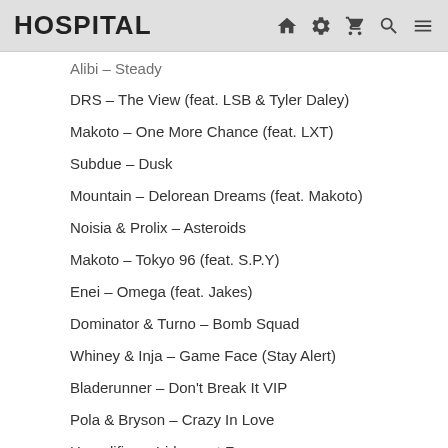HOSPITAL
Alibi – Steady
DRS – The View (feat. LSB & Tyler Daley)
Makoto – One More Chance (feat. LXT)
Subdue – Dusk
Mountain – Delorean Dreams (feat. Makoto)
Noisia & Prolix – Asteroids
Makoto – Tokyo 96 (feat. S.P.Y)
Enei – Omega (feat. Jakes)
Dominator & Turno – Bomb Squad
Whiney & Inja – Game Face (Stay Alert)
Bladerunner – Don't Break It VIP
Pola & Bryson – Crazy In Love
Hyroglifics – Iridescent Fog
Makoto – Explorer (feat. Degs)
IYRE – Reverse Apology
Sub Focus – Follow The Light
Fred v & Grafix – Games People Play
Makoto – Ascender